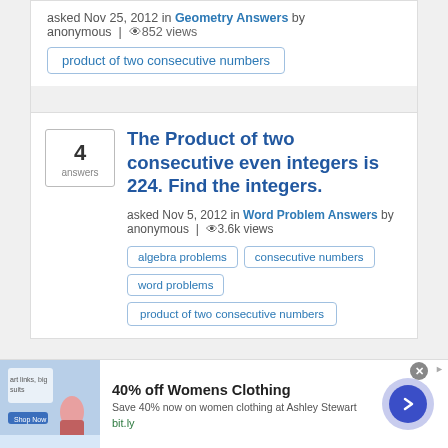asked Nov 25, 2012 in Geometry Answers by anonymous | 852 views
product of two consecutive numbers
The Product of two consecutive even integers is 224. Find the integers.
asked Nov 5, 2012 in Word Problem Answers by anonymous | 3.6k views
algebra problems
consecutive numbers
word problems
product of two consecutive numbers
[Figure (screenshot): Advertisement banner: 40% off Womens Clothing at Ashley Stewart, bit.ly link, with product image and blue arrow button]